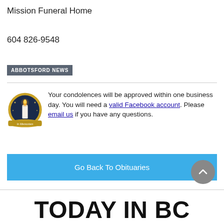Mission Funeral Home
604 826-9548
ABBOTSFORD NEWS
Your condolences will be approved within one business day. You will need a valid Facebook account. Please email us if you have any questions.
Go Back To Obituaries
TODAY IN BC